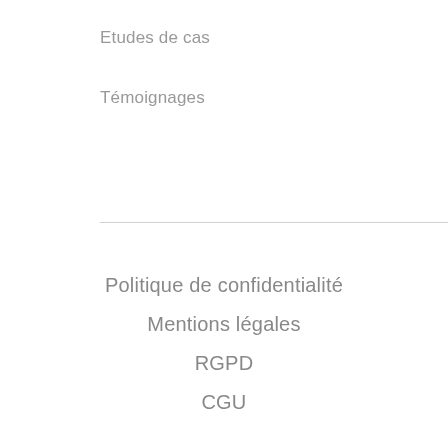Etudes de cas
Témoignages
Politique de confidentialité
Mentions légales
RGPD
CGU